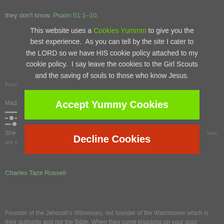they don't know. Psalm 51:1–10, ... background text visible behind overlay
This website uses a Cookies Yummm to give you the best experience.  As you can tell by the site I cater to the LORD so we have HIS cookie policy attached to my cookie policy.  I say leave the cookies to the Girl Scouts and the saving of souls to those who know Jesus.
[Figure (other): Green Accept Yummy Cookies button and Red Decline Cookies button in a cookie consent dialog overlay]
She ... mercy, but she was never foreign to the gospel of Christians. We are savior there are wicked species as well. Proverbs 2:12–16
Charles Taze Russell
Founder of the Jehovah's Witnesses, not founder of the Watchtower which is their authority and not the Bible. When they come knocking on your door remember this Psalm. Psalm 140:1–13